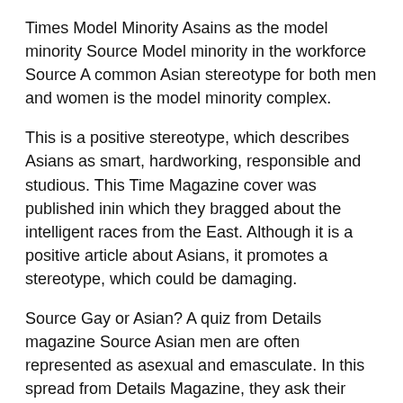Times Model Minority Asains as the model minority Source Model minority in the workforce Source A common Asian stereotype for both men and women is the model minority complex.
This is a positive stereotype, which describes Asians as smart, hardworking, responsible and studious. This Time Magazine cover was published inin which they bragged about the intelligent races from the East. Although it is a positive article about Asians, it promotes a stereotype, which could be damaging.
Source Gay or Asian? A quiz from Details magazine Source Asian men are often represented as asexual and emasculate. In this spread from Details Magazine, they ask their reader to determine whether the man is Asian or Gay.
They make the assumption that it is difficult to tell because Asian men are very clean cut and feminine